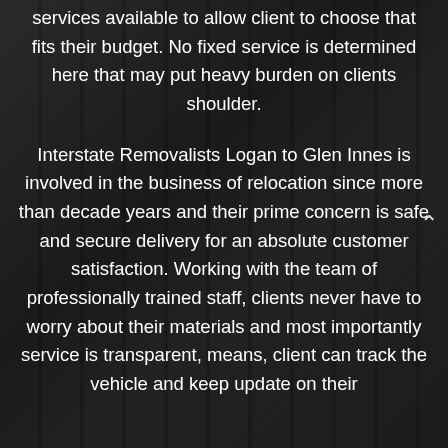services available to allow client to choose that fits their budget. No fixed service is determined here that may put heavy burden on clients shoulder.
Interstate Removalists Logan to Glen Innes is involved in the business of relocation since more than decade years and their prime concern is safe and secure delivery for an absolute customer satisfaction. Working with the team of professionally trained staff, clients never have to worry about their materials and most importantly service is transparent, means, client can track the vehicle and keep update on their items. With our competitive pricing structure